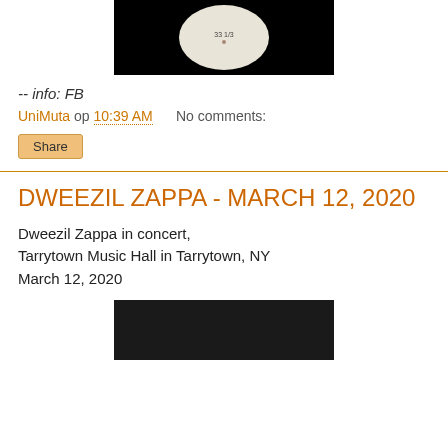[Figure (photo): Partial view of a vinyl record label on black background, showing '33 1/3' text]
-- info: FB
UniMuta op 10:39 AM    No comments:
Share
DWEEZIL ZAPPA - MARCH 12, 2020
Dweezil Zappa in concert,
Tarrytown Music Hall in Tarrytown, NY
March 12, 2020
[Figure (photo): Partial view of concert photo on dark background]